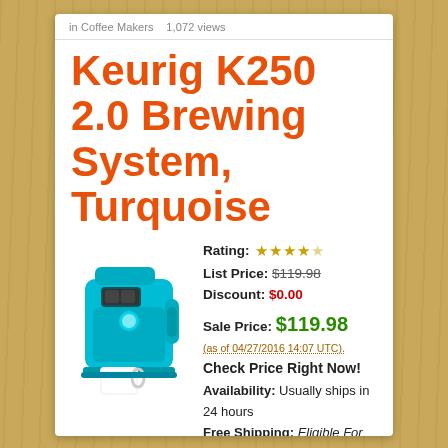in Coffee Makers   1,072 views
Keurig K250 2.0 Brewing System, Turquoise
[Figure (photo): Turquoise Keurig K250 2.0 coffee brewing machine with a white mug]
Rating: ★★★★☆
List Price: $119.98
Discount: $0.00
Sale Price: $119.98
(as of 04/27/2016 14:07 UTC).
Check Price Right Now!
Availability: Usually ships in 24 hours
Free Shipping: Eligible For Free Shipping
MORE INFORMATION